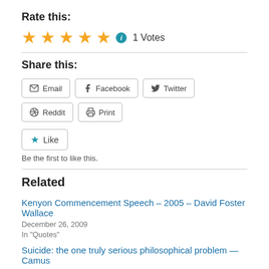Rate this:
★★★★★ ℹ 1 Votes
Share this:
Email  Facebook  Twitter  Reddit  Print
★ Like
Be the first to like this.
Related
Kenyon Commencement Speech – 2005 – David Foster Wallace
December 26, 2009
In "Quotes"
Suicide: the one truly serious philosophical problem — Camus
April 20, 2009
In "Short Prose"